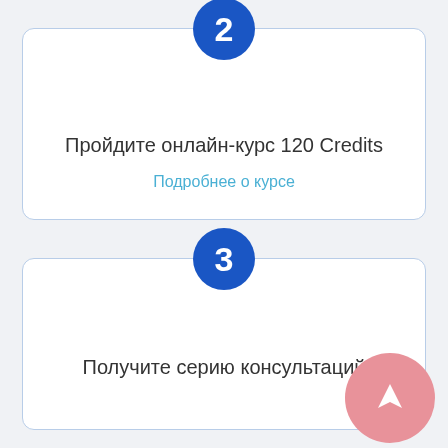[Figure (infographic): Step 2 card with blue circle numbered 2 at top, text 'Пройдите онлайн-курс 120 Credits' and link 'Подробнее о курсе']
Пройдите онлайн-курс 120 Credits
Подробнее о курсе
[Figure (infographic): Step 3 card with blue circle numbered 3 at top, text 'Получите серию консультаций' and pink navigation circle at bottom right]
Получите серию консультаций